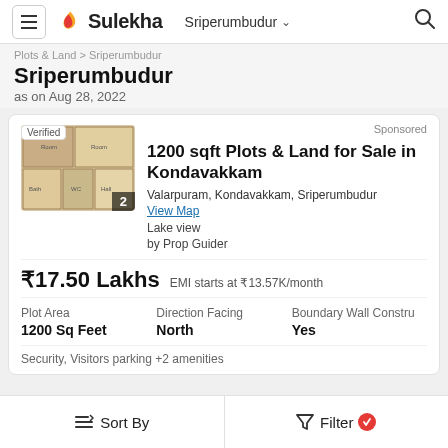Sulekha  Sriperumbudur
Sriperumbudur
as on Aug 28, 2022
Sponsored
1200 sqft Plots & Land for Sale in Kondavakkam
Valarpuram, Kondavakkam, Sriperumbudur
View Map
Lake view
by Prop Guider
₹17.50 Lakhs  EMI starts at ₹13.57K/month
| Plot Area | Direction Facing | Boundary Wall Constru |
| --- | --- | --- |
| 1200 Sq Feet | North | Yes |
Security, Visitors parking +2 amenities
Sort By    Filter